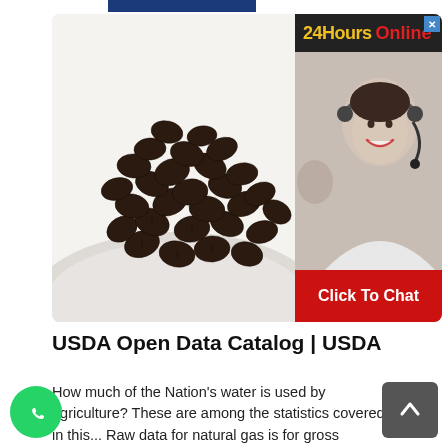[Figure (photo): Photo of dark roasted coffee beans piled on a white plate, with a chat widget overlay on the right side showing a customer service representative with headset, header reading '24Hours Online', and a red 'Click To Chat' button at the bottom.]
USDA Open Data Catalog | USDA
How much of the Nation's water is used by agriculture? These are among the statistics covered in this... Raw data for natural gas is for gross